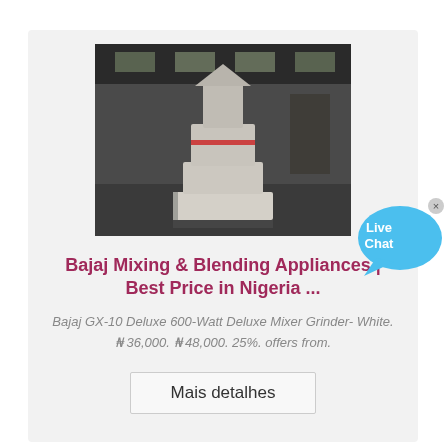[Figure (photo): Industrial machine (large white mixer/grinder machine) inside a warehouse/factory setting with dark ceiling and concrete floor]
Bajaj Mixing & Blending Appliances | Best Price in Nigeria ...
Bajaj GX-10 Deluxe 600-Watt Deluxe Mixer Grinder- White. ₦ 36,000. ₦ 48,000. 25%. offers from.
Mais detalhes